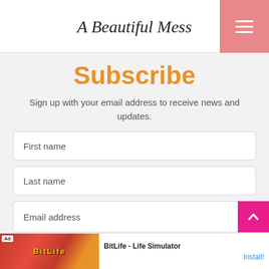A Beautiful Mess
Subscribe
Sign up with your email address to receive news and updates.
First name
Last name
Email address
[Figure (screenshot): Ad banner for BitLife - Life Simulator with colorful background and Install button]